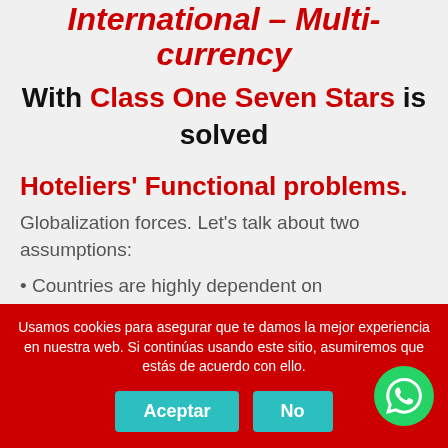International – Multi-currency With Class One Seven Stars is solved
Hoteliers' Functional problems.
Globalization forces. Let's talk about two assumptions:
Countries are highly dependent on dollarization. Our local currency might be: MXN, PEN, COP, ARS, ..., now our market, our bookings and our payments are normally made in USD
Cookie banner: Usamos cookies para asegurar que te damos la mejor experiencia en nuestra web. Si continúas usando este sitio, asumiremos que estás de acuerdo con ello.